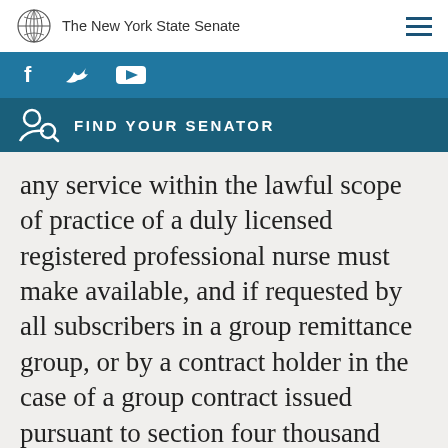The New York State Senate
[Figure (screenshot): Social media icons bar (Facebook, Twitter, YouTube) on teal background]
[Figure (infographic): Find Your Senator bar with person/search icon on dark teal background]
any service within the lawful scope of practice of a duly licensed registered professional nurse must make available, and if requested by all subscribers in a group remittance group, or by a contract holder in the case of a group contract issued pursuant to section four thousand three hundred five of this chapter, provide reimbursement for such services when performed by